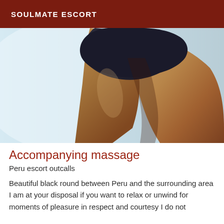SOULMATE ESCORT
[Figure (photo): Close-up photo of a person's lower body wearing dark shorts, showing legs and hips against a light background]
Accompanying massage
Peru escort outcalls
Beautiful black round between Peru and the surrounding area I am at your disposal if you want to relax or unwind for moments of pleasure in respect and courtesy I do not